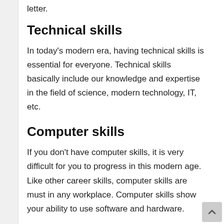letter.
Technical skills
In today's modern era, having technical skills is essential for everyone. Technical skills basically include our knowledge and expertise in the field of science, modern technology, IT, etc.
Computer skills
If you don't have computer skills, it is very difficult for you to progress in this modern age. Like other career skills, computer skills are must in any workplace. Computer skills show your ability to use software and hardware.
Presentation skills